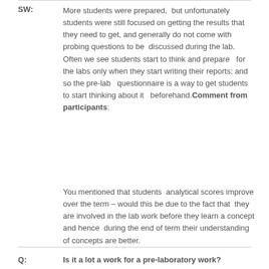SW: More students were prepared, but unfortunately students were still focused on getting the results that they need to get, and generally do not come with probing questions to be discussed during the lab. Often we see students start to think and prepare for the labs only when they start writing their reports; and so the pre-lab questionnaire is a way to get students to start thinking about it beforehand. Comment from participants:
You mentioned that students analytical scores improve over the term – would this be due to the fact that they are involved in the lab work before they learn a concept and hence during the end of term their understanding of concepts are better.
Q: Is it a lot a work for a pre-laboratory work?